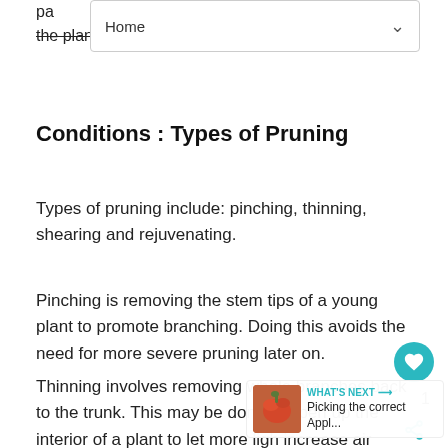Home
part ... of the plant before you buy and plant it.
Conditions : Types of Pruning
Types of pruning include: pinching, thinning, shearing and rejuvenating.
Pinching is removing the stem tips of a young plant to promote branching. Doing this avoids the need for more severe pruning later on.
Thinning involves removing whole branches back to the trunk. This may be done to open up the interior of a plant to let more light increase air circulation that can cut down on plant disease. The best way to begin thinning